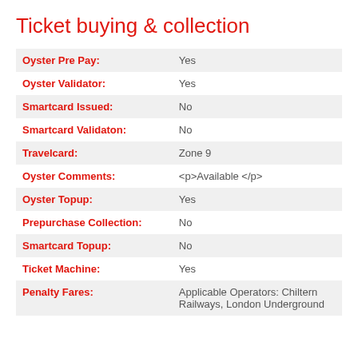Ticket buying & collection
| Field | Value |
| --- | --- |
| Oyster Pre Pay: | Yes |
| Oyster Validator: | Yes |
| Smartcard Issued: | No |
| Smartcard Validaton: | No |
| Travelcard: | Zone 9 |
| Oyster Comments: | <p>Available </p> |
| Oyster Topup: | Yes |
| Prepurchase Collection: | No |
| Smartcard Topup: | No |
| Ticket Machine: | Yes |
| Penalty Fares: | Applicable Operators: Chiltern Railways, London Underground |